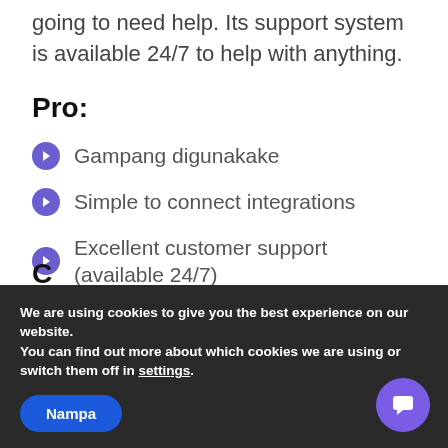going to need help. Its support system is available 24/7 to help with anything.
Pro:
Gampang digunakake
Simple to connect integrations
Excellent customer support (available 24/7)
Various guides and tutorials
We are using cookies to give you the best experience on our website.
You can find out more about which cookies we are using or switch them off in settings.
Nampa